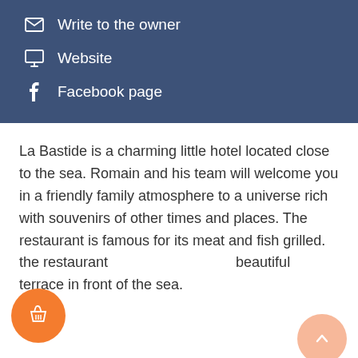Write to the owner
Website
Facebook page
La Bastide is a charming little hotel located close to the sea. Romain and his team will welcome you in a friendly family atmosphere to a universe rich with souvenirs of other times and places. The restaurant is famous for its meat and fish grilled. the restaurant beautiful terrace in front of the sea.
CLASSIFICATION/LABELS
2 stars